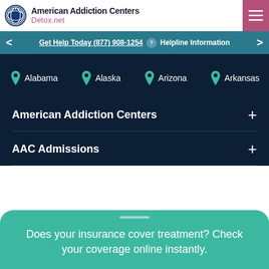American Addiction Centers Detox.net
Get Help Today (877) 908-1254  Helpline Information
Alabama
Alaska
Arizona
Arkansas
American Addiction Centers
AAC Admissions
Does your insurance cover treatment? Check your coverage online instantly.